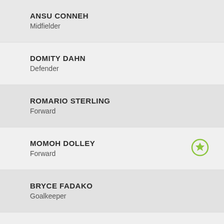ANSU CONNEH
Middlefielder
DOMITY DAHN
Defender
ROMARIO STERLING
Forward
MOMOH DOLLEY
Forward
BRYCE FADAKO
Goalkeeper
QUOIQUOI GAYFLOR
Defender
NYAKEH KAMARA
Forward